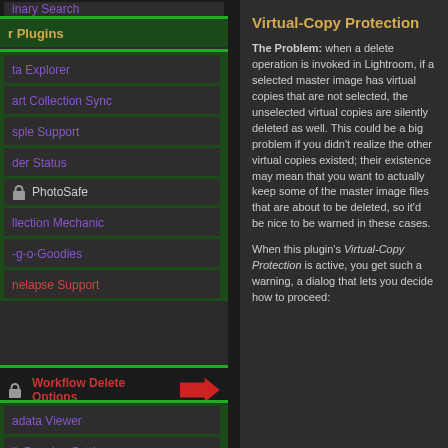r Plugins
ta Explorer
art Collection Sync
sple Support
der Status
PhotoSafe
llection Mechanic
-g-o-Goodies
nelapse Support
Workflow Delete Options
adata Viewer
lk Develop Settings
adata-Viewer Preset Builder
otoshop Layers
Virtual-Copy Protection
The Problem: when a delete operation is invoked in Lightroom, if a selected master image has virtual copies that are not selected, the unselected virtual copies are silently deleted as well. This could be a big problem if you didn't realize the other virtual copies existed; their existence may mean that you want to actually keep some of the master image files that are about to be deleted, so it'd be nice to be warned in these cases.
When this plugin's Virtual-Copy Protection is active, you get such a warning, a dialog that lets you decide how to proceed: